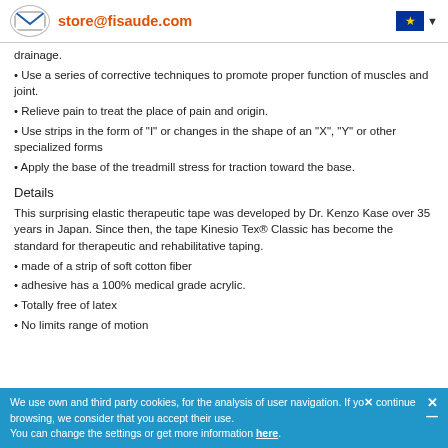store@fisaude.com
drainage.
• Use a series of corrective techniques to promote proper function of muscles and joint.
• Relieve pain to treat the place of pain and origin.
• Use strips in the form of "I" or changes in the shape of an "X", "Y" or other specialized forms
• Apply the base of the treadmill stress for traction toward the base.
Details
This surprising elastic therapeutic tape was developed by Dr. Kenzo Kase over 35 years in Japan. Since then, the tape Kinesio Tex® Classic has become the standard for therapeutic and rehabilitative taping.
• made of a strip of soft cotton fiber
• adhesive has a 100% medical grade acrylic.
• Totally free of latex
• No limits range of motion
We use own and third party cookies, for the analysis of user navigation. If you continue browsing, we consider that you accept their use. You can change the settings or get more information here.